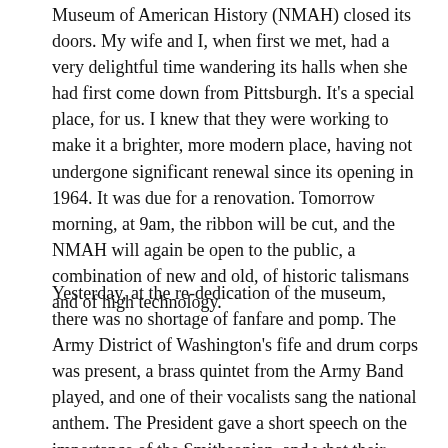Museum of American History (NMAH) closed its doors. My wife and I, when first we met, had a very delightful time wandering its halls when she had first come down from Pittsburgh. It's a special place, for us. I knew that they were working to make it a brighter, more modern place, having not undergone significant renewal since its opening in 1964. It was due for a renovation. Tomorrow morning, at 9am, the ribbon will be cut, and the NMAH will again be open to the public, a combination of new and old, of historic talismans and of high technology.
Yesterday, at the re-dedication of the museum, there was no shortage of fanfare and pomp. The Army District of Washington's fife and drum corps was present, a brass quintet from the Army Band played, and one of their vocalists sang the national anthem. The President gave a short speech on the importance of the Smithsonian, and what their collection represents in terms of national ideals. President Bush and the First Lady have arranged for the handwritten White House...